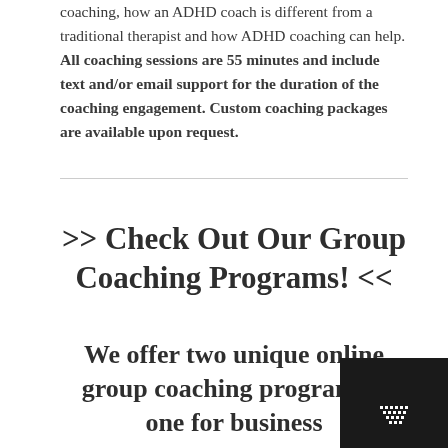coaching, how an ADHD coach is different from a traditional therapist and how ADHD coaching can help. All coaching sessions are 55 minutes and include text and/or email support for the duration of the coaching engagement. Custom coaching packages are available upon request.
>> Check Out Our Group Coaching Programs! <<
We offer two unique online group coaching programs – one for business
[Figure (logo): Small black square watermark with white dot/triangle pattern in bottom-right corner]